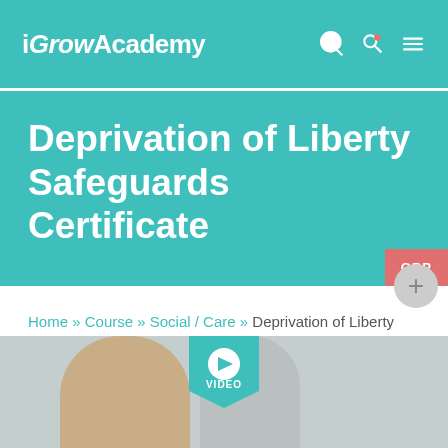iGrowAcademy
Deprivation of Liberty Safeguards Certificate
Home » Course » Social / Care » Deprivation of Liberty Safeguards Certificate
[Figure (screenshot): Video thumbnail showing two people, with a teal video play button overlay labeled VIDEO]